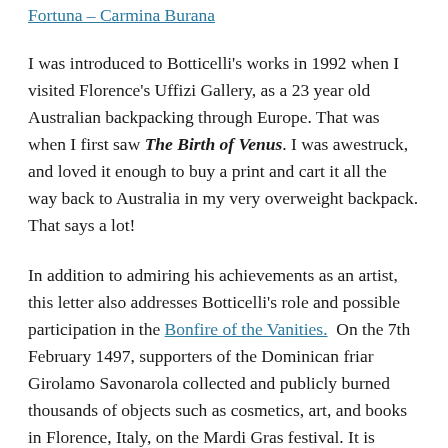Fortuna – Carmina Burana
I was introduced to Botticelli's works in 1992 when I visited Florence's Uffizi Gallery, as a 23 year old Australian backpacking through Europe. That was when I first saw The Birth of Venus. I was awestruck, and loved it enough to buy a print and cart it all the way back to Australia in my very overweight backpack. That says a lot!
In addition to admiring his achievements as an artist, this letter also addresses Botticelli's role and possible participation in the Bonfire of the Vanities. On the 7th February 1497, supporters of the Dominican friar Girolamo Savonarola collected and publicly burned thousands of objects such as cosmetics, art, and books in Florence, Italy, on the Mardi Gras festival. It is believed that Botticelli may have added some of his works to the pyre. It is hard to comprehend what went up in those flames, but there's no doubt that it is known as one of artworks that resulted to